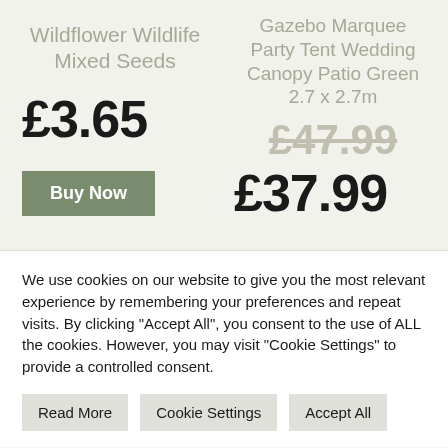Wildflower Wildlife Mixed Seeds
£3.65
Buy Now
Gazebo Marquee Party Tent Wedding Canopy Patio Green 2.7 x 2.7m
£47.99
£37.99
We use cookies on our website to give you the most relevant experience by remembering your preferences and repeat visits. By clicking "Accept All", you consent to the use of ALL the cookies. However, you may visit "Cookie Settings" to provide a controlled consent.
Read More
Cookie Settings
Accept All